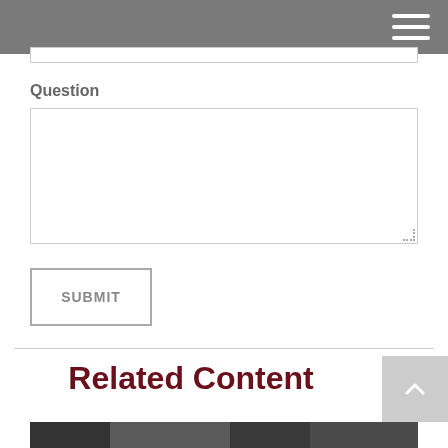Question
[Question textarea input field]
SUBMIT
Related Content
[Figure (photo): Partial view of a photograph showing people, visible at the bottom of the page]